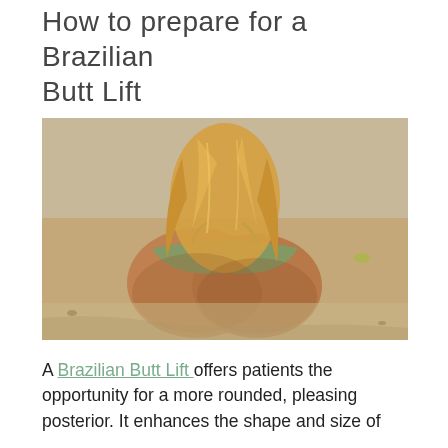How to prepare for a Brazilian Butt Lift
[Figure (photo): A person with long blonde hair sitting on sand at a beach, wearing a green bikini bottom, viewed from behind, showing the buttocks area.]
A Brazilian Butt Lift offers patients the opportunity for a more rounded, pleasing posterior. It enhances the shape and size of